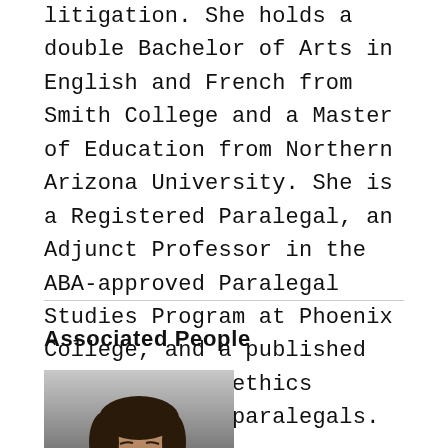litigation. She holds a double Bachelor of Arts in English and French from Smith College and a Master of Education from Northern Arizona University. She is a Registered Paralegal, an Adjunct Professor in the ABA-approved Paralegal Studies Program at Phoenix College, and a published author of two ethics textbooks for paralegals.
Associated People
[Figure (photo): Headshot photo of a woman with dark hair against a grey gradient background]